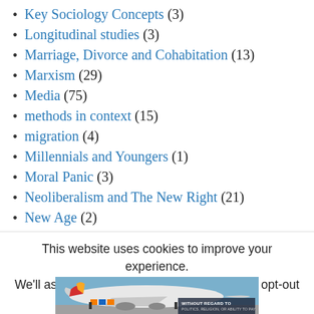Key Sociology Concepts (3)
Longitudinal studies (3)
Marriage, Divorce and Cohabitation (13)
Marxism (29)
Media (75)
methods in context (15)
migration (4)
Millennials and Youngers (1)
Moral Panic (3)
Neoliberalism and The New Right (21)
New Age (2)
new media (4)
This website uses cookies to improve your experience. We'll assume you're ok with this, but you can opt-out if
[Figure (photo): Advertisement banner showing an airplane being loaded with cargo, with text overlay reading 'WITHOUT REGARD TO POLITICS, RELIGION, OR ABILITY TO PAY']